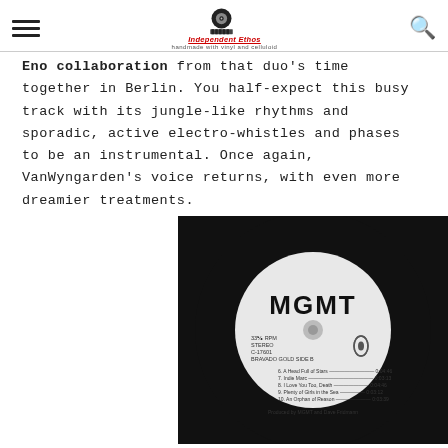Independent Ethos — handmade with vinyl and celluloid
Eno collaboration from that duo's time together in Berlin. You half-expect this busy track with its jungle-like rhythms and sporadic, active electro-whistles and phases to be an instrumental. Once again, VanWyngarden's voice returns, with even more dreamier treatments.
[Figure (photo): A vinyl record label for MGMT showing the band name in large bold letters, with track listing and production details on a white/light gray circular label against a black record background. Details include 33 RPM, STEREO, and side B track listing.]